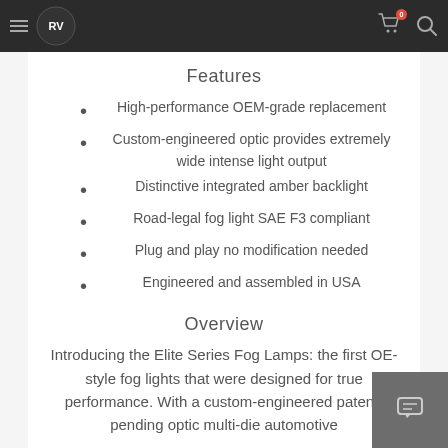Navigation bar with hamburger menu, logo, cart icon (badge: 0), and search icon
Features
High-performance OEM-grade replacement
Custom-engineered optic provides extremely wide intense light output
Distinctive integrated amber backlight
Road-legal fog light SAE F3 compliant
Plug and play no modification needed
Engineered and assembled in USA
Overview
Introducing the Elite Series Fog Lamps: the first OE-style fog lights that were designed for true performance. With a custom-engineered patent-pending optic multi-die automotive